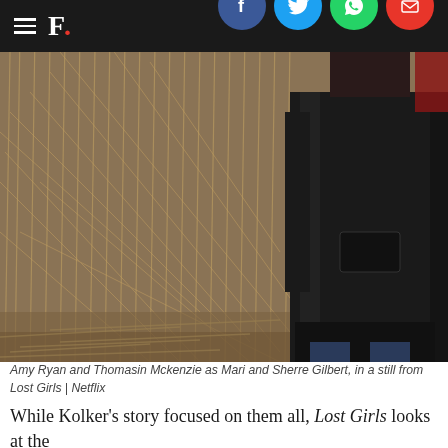F.
[Figure (photo): A person wearing a dark coat standing in front of dry reeds/tall grass in a field. The image is from the Netflix film Lost Girls. Amy Ryan and Thomasin Mckenzie play Mari and Sherre Gilbert.]
Amy Ryan and Thomasin Mckenzie as Mari and Sherre Gilbert, in a still from Lost Girls | Netflix
While Kolker's story focused on them all, Lost Girls looks at the story of one mother through the eyes of Mari Gilbert,